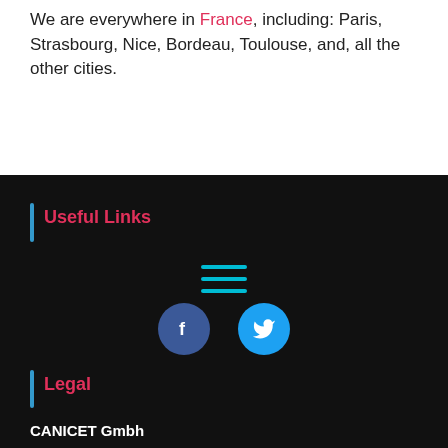We are everywhere in France, including: Paris, Strasbourg, Nice, Bordeau, Toulouse, and, all the other cities.
Useful Links
[Figure (other): Hamburger menu icon (three horizontal lines) in cyan/blue color on black background]
[Figure (other): Social media icons: Facebook (dark blue circle with white 'f') and Twitter (cyan circle with white bird icon)]
Legal
CANICET Gmbh